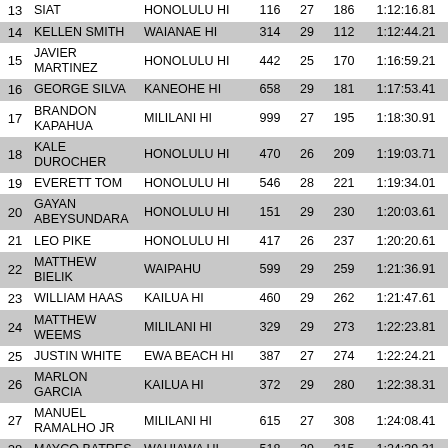| # | Name | Location | Bib | Age | OA | Time |
| --- | --- | --- | --- | --- | --- | --- |
| 13 | SIAT | HONOLULU HI | 116 | 27 | 186 | 1:12:16.81 |
| 14 | KELLEN SMITH | WAIANAE HI | 314 | 29 | 112 | 1:12:44.21 |
| 15 | JAVIER MARTINEZ | HONOLULU HI | 442 | 25 | 170 | 1:16:59.21 |
| 16 | GEORGE SILVA | KANEOHE HI | 658 | 29 | 181 | 1:17:53.41 |
| 17 | BRANDON KAPAHUA | MILILANI HI | 999 | 27 | 195 | 1:18:30.91 |
| 18 | KALE DUROCHER | HONOLULU HI | 470 | 26 | 209 | 1:19:03.71 |
| 19 | EVERETT TOM | HONOLULU HI | 546 | 28 | 221 | 1:19:34.01 |
| 20 | GAYAN ABEYSUNDARA | HONOLULU HI | 151 | 29 | 230 | 1:20:03.61 |
| 21 | LEO PIKE | HONOLULU HI | 417 | 26 | 237 | 1:20:20.61 |
| 22 | MATTHEW BIELIK | WAIPAHU | 599 | 29 | 259 | 1:21:36.91 |
| 23 | WILLIAM HAAS | KAILUA HI | 460 | 29 | 262 | 1:21:47.61 |
| 24 | MATTHEW WEEMS | MILILANI HI | 329 | 29 | 273 | 1:22:23.81 |
| 25 | JUSTIN WHITE | EWA BEACH HI | 387 | 27 | 274 | 1:22:24.21 |
| 26 | MARLON GARCIA | KAILUA HI | 372 | 29 | 280 | 1:22:38.31 |
| 27 | MANUEL RAMALHO JR | MILILANI HI | 615 | 27 | 308 | 1:24:08.41 |
| 28 | MAYCO BATRES | WAHIAWA HI | 518 | 29 | 315 | 1:24:39.31 |
| 29 | JACK ROCKWAY | WIAMANALO HI | 12 | 27 | 331 | 1:25:34.31 |
| 30 | JEROME STOKES | HONOLULU HI | 303 | 28 | 342 | 1:26:31.31 |
| 31 | ADAM SMITH | KAPOLEI HI | 547 | 28 | 384 | 1:28:40.31 |